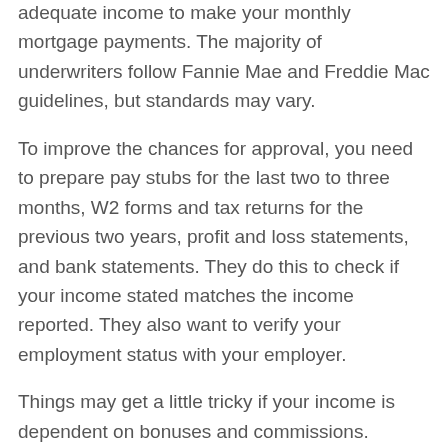adequate income to make your monthly mortgage payments. The majority of underwriters follow Fannie Mae and Freddie Mac guidelines, but standards may vary.
To improve the chances for approval, you need to prepare pay stubs for the last two to three months, W2 forms and tax returns for the previous two years, profit and loss statements, and bank statements. They do this to check if your income stated matches the income reported. They also want to verify your employment status with your employer.
Things may get a little tricky if your income is dependent on bonuses and commissions. Underwriters will need to see two years' worth of